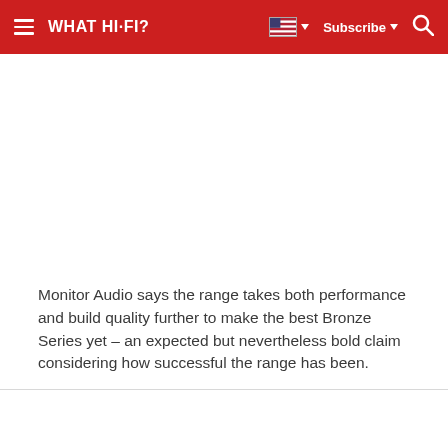WHAT HI-FI? | Subscribe
Monitor Audio says the range takes both performance and build quality further to make the best Bronze Series yet – an expected but nevertheless bold claim considering how successful the range has been.